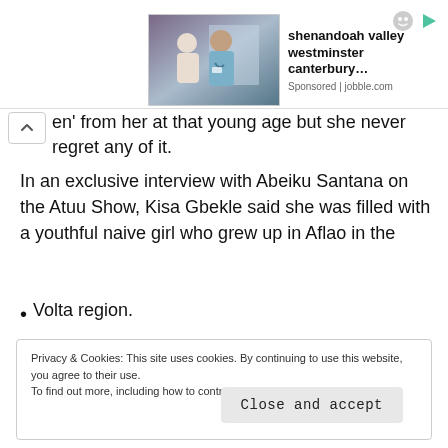[Figure (photo): Advertisement banner with a photo of a healthcare worker with a patient, promoting shenandoah valley westminster canterbury on jobble.com]
en' from her at that young age but she never regret any of it.
In an exclusive interview with Abeiku Santana on the Atuu Show, Kisa Gbekle said she was filled with a youthful naive girl who grew up in Aflao in the
Volta region.
Privacy & Cookies: This site uses cookies. By continuing to use this website, you agree to their use.
To find out more, including how to control cookies, see here: Cookie Policy